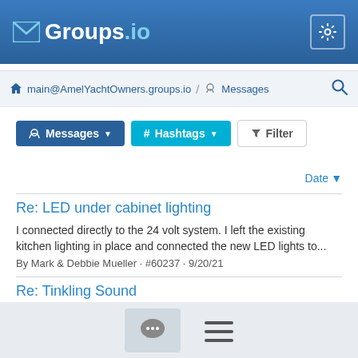[Figure (screenshot): Groups.io logo with envelope icon and gear settings button in top navigation bar]
main@AmelYachtOwners.groups.io / Messages
Messages  # Hashtags  Filter
Date ▼
Re: LED under cabinet lighting
I connected directly to the 24 volt system. I left the existing kitchen lighting in place and connected the new LED lights to...
By Mark & Debbie Mueller · #60237 · 9/20/21
Re: Tinkling Sound
Thanks Paul and Joel. I will try the halyard first, then Paul's suggestions if not joy. We are fine, Joel. I did take a nasty spill...
chat icon and hamburger menu